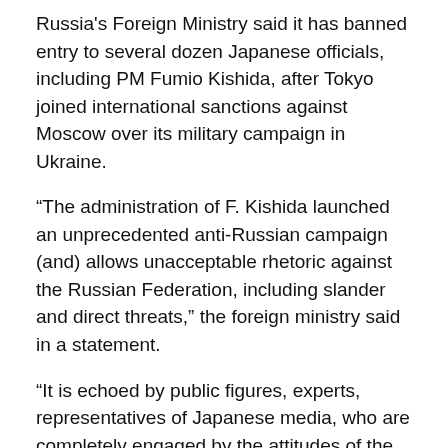Russia's Foreign Ministry said it has banned entry to several dozen Japanese officials, including PM Fumio Kishida, after Tokyo joined international sanctions against Moscow over its military campaign in Ukraine.
“The administration of F. Kishida launched an unprecedented anti-Russian campaign (and) allows unacceptable rhetoric against the Russian Federation, including slander and direct threats,” the foreign ministry said in a statement.
“It is echoed by public figures, experts, representatives of Japanese media, who are completely engaged by the attitudes of the West towards our country,” the ministry added.